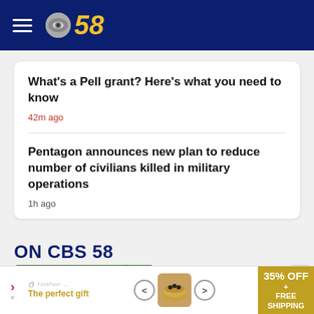CBS 58
What's a Pell grant? Here's what you need to know
42m ago
Pentagon announces new plan to reduce number of civilians killed in military operations
1h ago
ON CBS 58
[Figure (photo): Thumbnail image showing The Villages sign with trees in background]
[Figure (infographic): Advertisement banner: The perfect gift, 35% OFF + FREE SHIPPING]